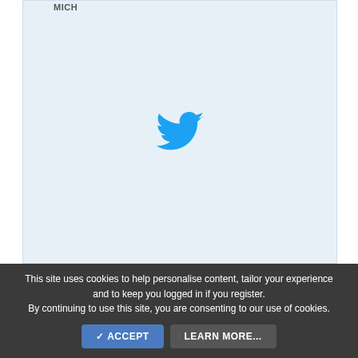[Figure (screenshot): Embedded tweet card with light blue background and Twitter bird logo centered, partial text visible at top reading 'MICH']
😍 SigmaSuccour
This site uses cookies to help personalise content, tailor your experience and to keep you logged in if you register. By continuing to use this site, you are consenting to our use of cookies.